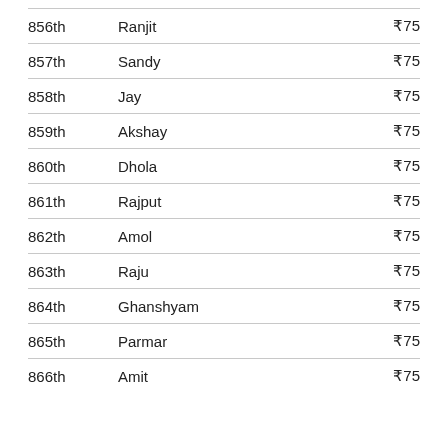| Rank | Name | Amount |
| --- | --- | --- |
| 856th | Ranjit | ₹75 |
| 857th | Sandy | ₹75 |
| 858th | Jay | ₹75 |
| 859th | Akshay | ₹75 |
| 860th | Dhola | ₹75 |
| 861th | Rajput | ₹75 |
| 862th | Amol | ₹75 |
| 863th | Raju | ₹75 |
| 864th | Ghanshyam | ₹75 |
| 865th | Parmar | ₹75 |
| 866th | Amit | ₹75 |